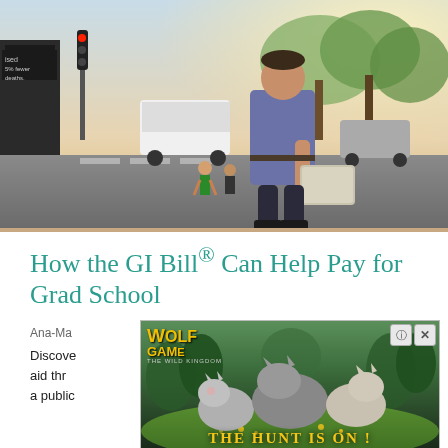[Figure (photo): A man in a blue short-sleeve shirt carrying a laptop bag, walking across a street intersection with traffic lights and pedestrians in the background. Urban street scene with warm sunlight.]
How the GI Bill® Can Help Pay for Grad School
Ana-Ma...
Discover ... ncial aid thr ... asily in a public ...
[Figure (photo): Advertisement overlay for 'Wolf Game: The Wild Kingdom' showing wolves in a forest meadow with text 'THE HUNT IS ON!' and close/info buttons in the top right corner.]